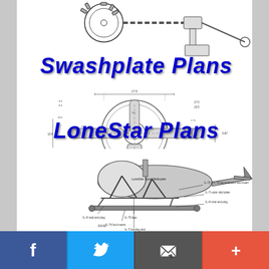[Figure (engineering-diagram): Top portion: mechanical assembly diagram showing chain drive, sprocket, and swashplate components with technical drawing style]
Swashplate Plans
[Figure (engineering-diagram): Center: detailed swashplate engineering drawing with dimensioned views showing circular ring with cross arms and cylindrical hub, multiple dimension annotations]
LoneStar Plans
[Figure (engineering-diagram): Bottom: side view engineering drawing of LoneStar Sport Helicopter showing skid landing gear assembly with labeled parts including landing skid, skid plates, foot inserts, leg extensions, and plug components]